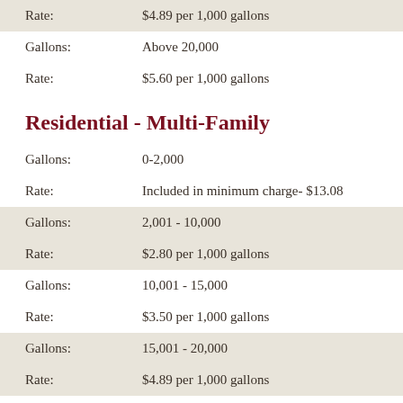Rate: $4.89 per 1,000 gallons
Gallons: Above 20,000
Rate: $5.60 per 1,000 gallons
Residential - Multi-Family
Gallons: 0-2,000
Rate: Included in minimum charge- $13.08
Gallons: 2,001 - 10,000
Rate: $2.80 per 1,000 gallons
Gallons: 10,001 - 15,000
Rate: $3.50 per 1,000 gallons
Gallons: 15,001 - 20,000
Rate: $4.89 per 1,000 gallons
Gallons: Above 20,000